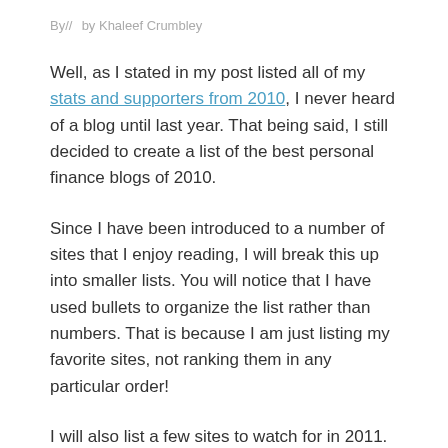By//  by Khaleef Crumbley
Well, as I stated in my post listed all of my stats and supporters from 2010, I never heard of a blog until last year. That being said, I still decided to create a list of the best personal finance blogs of 2010.
Since I have been introduced to a number of sites that I enjoy reading, I will break this up into smaller lists. You will notice that I have used bullets to organize the list rather than numbers. That is because I am just listing my favorite sites, not ranking them in any particular order!
I will also list a few sites to watch for in 2011. These represent sites that I didn't discover until